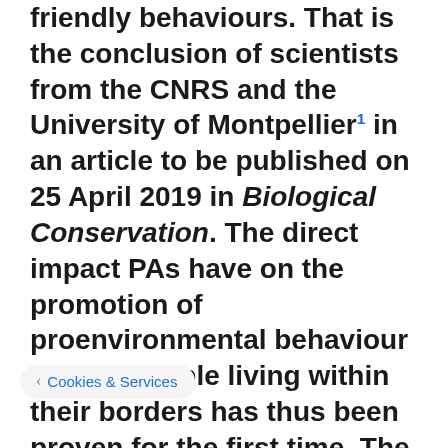friendly behaviours. That is the conclusion of scientists from the CNRS and the University of Montpellier¹ in an article to be published on 25 April 2019 in Biological Conservation. The direct impact PAs have on the promotion of proenvironmental behaviour among people living within their borders has thus been proven for the first time. The researchers suggest that PAs preserve the connection between humans and nature. These findings should encourage those managing PAs to pursue measures taken to raise awareness, and consider their relationship with nature.